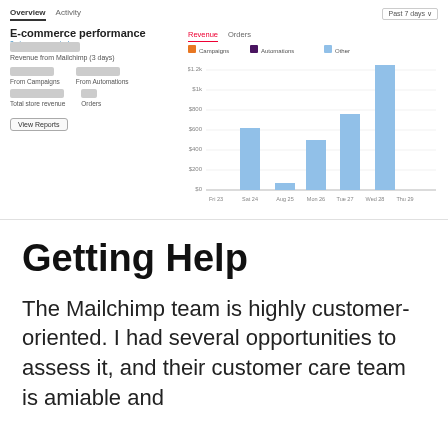[Figure (screenshot): Mailchimp E-commerce performance dashboard screenshot showing revenue bar chart by day of week (Fri 23 through Thu 29), with tabs for Overview/Activity and Revenue/Orders, legend for Campaigns/Automations/Other, left panel with blurred revenue metrics, From Campaigns, From Automations, Total store revenue, Orders, and View Reports button. Past 7 days filter shown.]
Getting Help
The Mailchimp team is highly customer-oriented. I had several opportunities to assess it, and their customer care team is amiable and